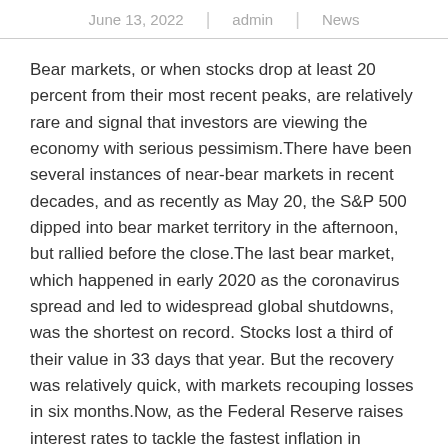June 13, 2022 | admin | News
Bear markets, or when stocks drop at least 20 percent from their most recent peaks, are relatively rare and signal that investors are viewing the economy with serious pessimism.There have been several instances of near-bear markets in recent decades, and as recently as May 20, the S&P 500 dipped into bear market territory in the afternoon, but rallied before the close.The last bear market, which happened in early 2020 as the coronavirus spread and led to widespread global shutdowns, was the shortest on record. Stocks lost a third of their value in 33 days that year. But the recovery was relatively quick, with markets recouping losses in six months.Now, as the Federal Reserve raises interest rates to tackle the fastest inflation in decades, there are concerns among investors the moves will cause the economy to contract. Recessions have often followed bear markets, but one